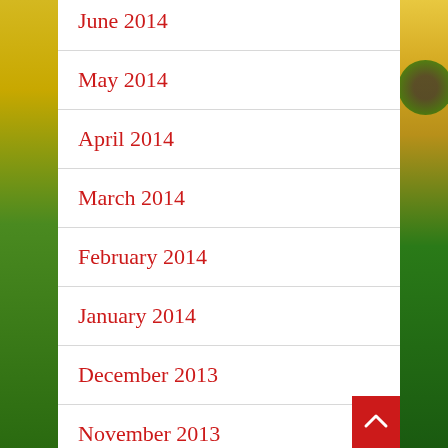June 2014
May 2014
April 2014
March 2014
February 2014
January 2014
December 2013
November 2013
October 2013